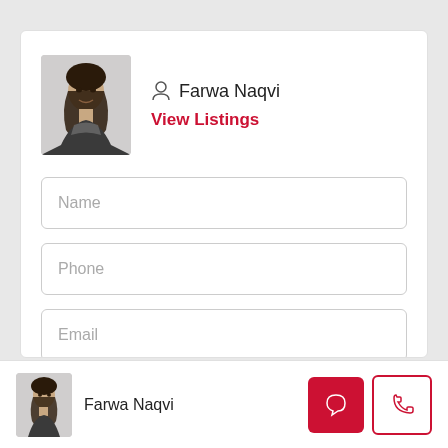[Figure (photo): Agent profile photo of Farwa Naqvi in a black and white patterned outfit]
Farwa Naqvi
View Listings
Name
Phone
Email
Hello, I am interested in [MODERN FARMHOUSE TOWNHOMES - 3769]
[Figure (photo): Small agent profile photo of Farwa Naqvi in bottom bar]
Farwa Naqvi